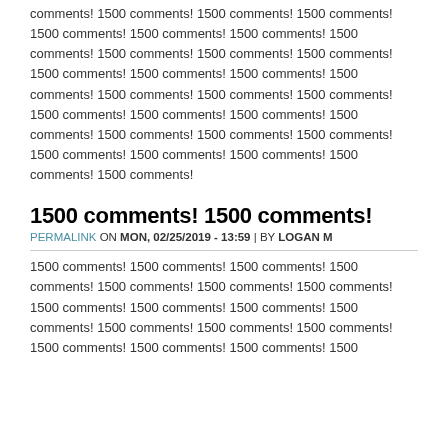comments! 1500 comments! 1500 comments! 1500 comments! 1500 comments! 1500 comments! 1500 comments! 1500 comments! 1500 comments! 1500 comments! 1500 comments! 1500 comments! 1500 comments! 1500 comments! 1500 comments! 1500 comments! 1500 comments! 1500 comments! 1500 comments! 1500 comments! 1500 comments! 1500 comments! 1500 comments! 1500 comments! 1500 comments! 1500 comments! 1500 comments! 1500 comments! 1500 comments! 1500 comments!
1500 comments! 1500 comments!
PERMALINK ON MON, 02/25/2019 - 13:59 | BY LOGAN M
1500 comments! 1500 comments! 1500 comments! 1500 comments! 1500 comments! 1500 comments! 1500 comments! 1500 comments! 1500 comments! 1500 comments! 1500 comments! 1500 comments! 1500 comments! 1500 comments! 1500 comments! 1500 comments! 1500 comments! 1500